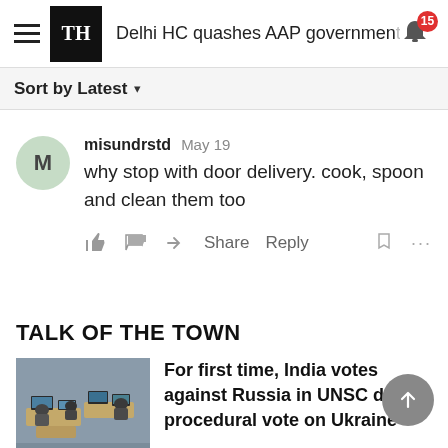Delhi HC quashes AAP government
Sort by Latest
misundrstd May 19
why stop with door delivery. cook, spoon and clean them too
TALK OF THE TOWN
[Figure (photo): Conference room with people seated at desks with laptops and monitors, viewed from above and behind]
For first time, India votes against Russia in UNSC during procedural vote on Ukraine